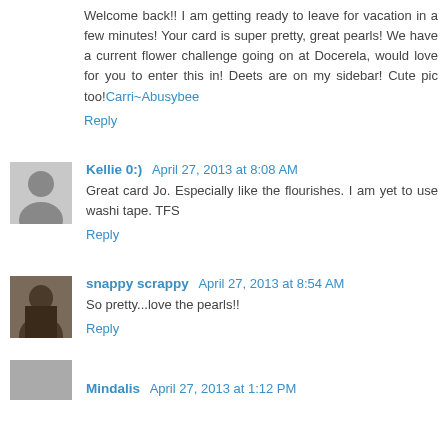Welcome back!! I am getting ready to leave for vacation in a few minutes! Your card is super pretty, great pearls! We have a current flower challenge going on at Docerela, would love for you to enter this in! Deets are on my sidebar! Cute pic too!Carri~Abusybee
Reply
Kellie 0:)  April 27, 2013 at 8:08 AM
Great card Jo. Especially like the flourishes. I am yet to use washi tape. TFS
Reply
snappy scrappy  April 27, 2013 at 8:54 AM
So pretty...love the pearls!!
Reply
Mindalis  April 27, 2013 at 1:12 PM